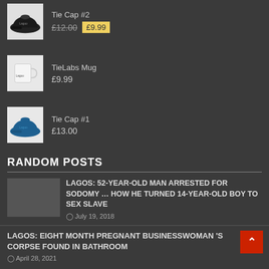[Figure (photo): Black cap product thumbnail]
Tie Cap #2
£12.00  £9.99
[Figure (photo): White mug product thumbnail]
TieLabs Mug
£9.99
[Figure (photo): Blue cap product thumbnail]
Tie Cap #1
£13.00
RANDOM POSTS
[Figure (photo): Post thumbnail image placeholder]
LAGOS: 52-YEAR-OLD MAN ARRESTED FOR SODOMY … How he turned 14-year-old boy to sex slave
July 19, 2018
LAGOS: EIGHT MONTH PREGNANT BUSINESSWOMAN 'S CORPSE FOUND IN BATHROOM
April 28, 2021